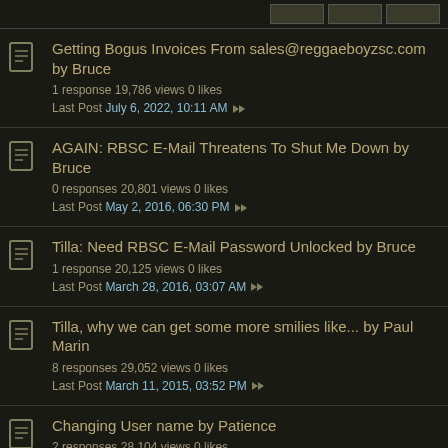[navigation buttons]
Getting Bogus Invoices From sales@reggaeboyzsc.com by Bruce
1 response 19,786 views 0 likes
Last Post July 6, 2022, 10:11 AM
AGAIN: RBSC E-Mail Threatens To Shut Me Down by Bruce
0 responses 20,801 views 0 likes
Last Post May 2, 2016, 06:30 PM
Tilla: Need RBSC E-Mail Password Unlocked by Bruce
1 response 20,125 views 0 likes
Last Post March 28, 2016, 03:07 AM
Tilla, why we can get some more smilies like... by Paul Marin
8 responses 29,052 views 0 likes
Last Post March 11, 2015, 03:52 PM
Changing User name by Patience
2 responses 28,104 views 0 likes
Last Post October 16, 2010, 12:27 AM
Jangle to make sure you see this by Assassin...